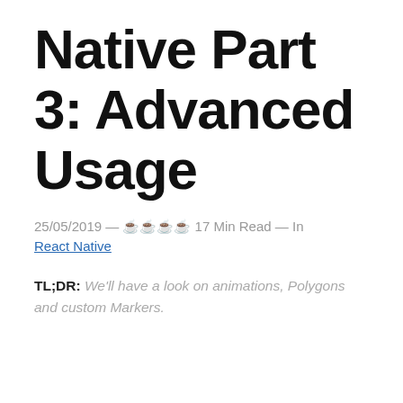Native Part 3: Advanced Usage
25/05/2019 — ☕☕☕☕ 17 Min Read — In React Native
TL;DR: We'll have a look on animations, Polygons and custom Markers.